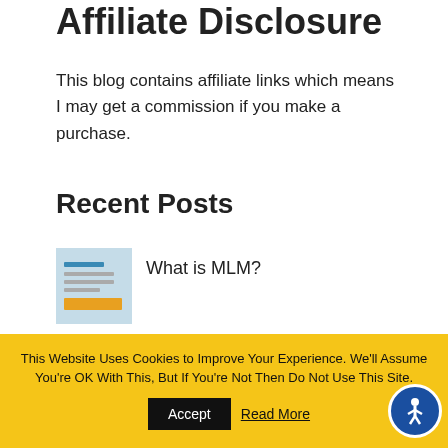Affiliate Disclosure
This blog contains affiliate links which means I may get a commission if you make a purchase.
Recent Posts
What is MLM?
🥇 Clickbank University 2.0 Review
Six Must-Haves for Starting a Business from Home
This Website Uses Cookies to Improve Your Experience. We'll Assume You're OK With This, But If You're Not Then Do Not Use This Site. Accept Read More